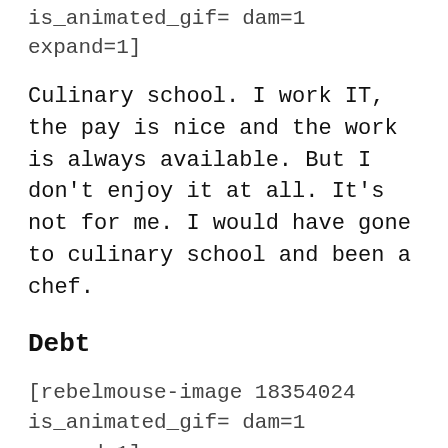is_animated_gif= dam=1 expand=1]
Culinary school. I work IT, the pay is nice and the work is always available. But I don't enjoy it at all. It's not for me. I would have gone to culinary school and been a chef.
Debt
[rebelmouse-image 18354024 is_animated_gif= dam=1 expand=1]
First of all, I wouldn't go to a university THEN a community college. I'm in debt up to my eyeballs. Second, I'd major in software engineering/development. I would have loved to be able to work from home one day. I've tried, off and on, to teach myself programming, but it